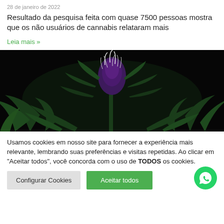28 de janeiro de 2022
Resultado da pesquisa feita com quase 7500 pessoas mostra que os não usuários de cannabis relataram mais
Leia mais »
[Figure (photo): Cannabis plant with purple flower against black background]
Usamos cookies em nosso site para fornecer a experiência mais relevante, lembrando suas preferências e visitas repetidas. Ao clicar em "Aceitar todos", você concorda com o uso de TODOS os cookies.
Configurar Cookies
Aceitar todos